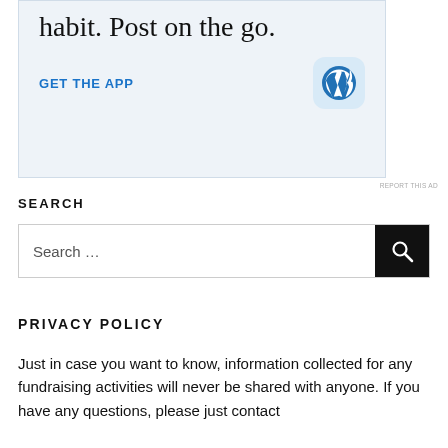[Figure (screenshot): WordPress app advertisement banner with light blue background. Shows text 'habit. Post on the go.' with 'GET THE APP' call-to-action link and WordPress logo icon.]
REPORT THIS AD
SEARCH
[Figure (screenshot): Search input field with placeholder text 'Search ...' and a black search button with magnifying glass icon on the right.]
PRIVACY POLICY
Just in case you want to know, information collected for any fundraising activities will never be shared with anyone. If you have any questions, please just contact